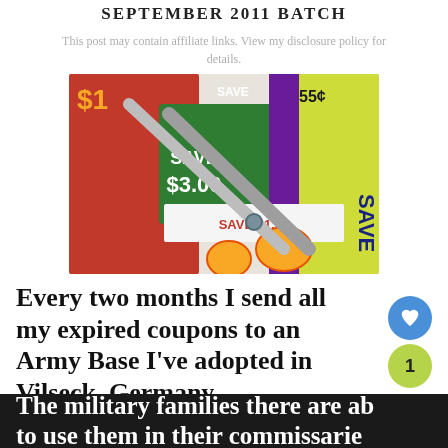SEPTEMBER 2011 BATCH
This post may contain affiliate links. View my disclosure policy for details.
[Figure (photo): Scissors cutting coupons including ones showing SAVE $3.00 and SAVE $1.00]
Every two months I send all my expired coupons to an Army Base I've adopted in Vilseck, Germany.
The military families there are able to use them in their commissaries